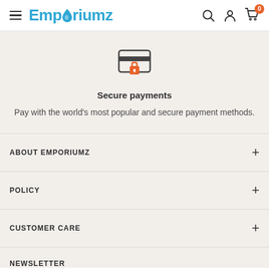Emporiumz
[Figure (illustration): Secure payment icon: credit card with padlock overlay]
Secure payments
Pay with the world's most popular and secure payment methods.
ABOUT EMPORIUMZ
POLICY
CUSTOMER CARE
NEWSLETTER